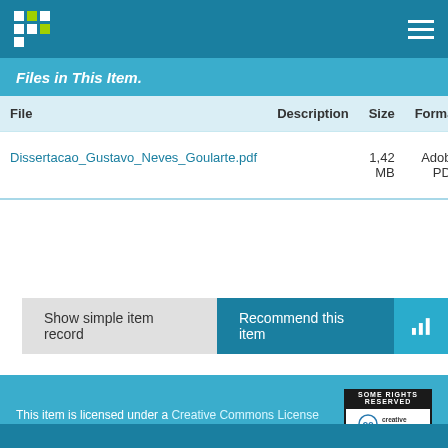Files in This Item.
| File | Description | Size | Format |
| --- | --- | --- | --- |
| Dissertacao_Gustavo_Neves_Goularte.pdf |  | 1,42 MB | Adobe PDF |
Show simple item record
Recommend this item
This item is licensed under a Creative Commons License